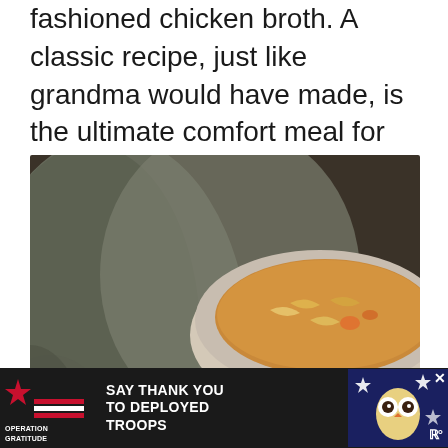fashioned chicken broth. A classic recipe, just like grandma would have made, is the ultimate comfort meal for cold days or when feeling a bit under the weather.
[Figure (photo): Two bowls of chicken noodle soup photographed close-up, with noodles and vegetables visible in broth, draped fabric in background. A dark circular heart/favorite button and a share button with count 660 are overlaid on the right side.]
SAY THANK YOU TO DEPLOYED TROOPS